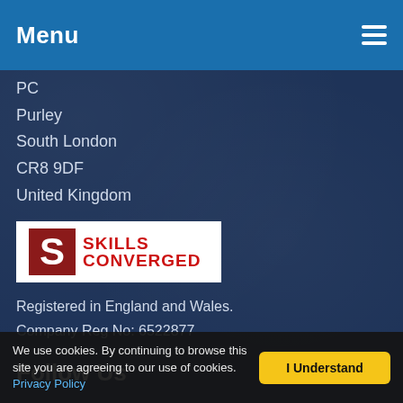Menu
Purley
South London
CR8 9DF
United Kingdom
[Figure (logo): Skills Converged logo with red S icon and red bold text reading SKILLS CONVERGED on white background]
Registered in England and Wales.
Company Reg No: 6522877
Follow Us
Newsletter and email Updates
We use cookies. By continuing to browse this site you are agreeing to our use of cookies. Privacy Policy  |  I Understand